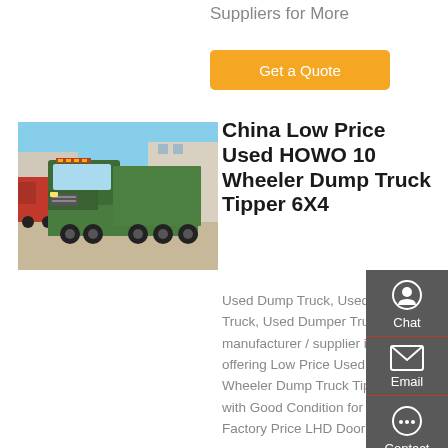Suppliers for More
Get a Quote
[Figure (photo): Green HOWO dump truck (tipper) photographed from the front-left, parked in a yard with other trucks and buildings in the background.]
China Low Price Used HOWO 10 Wheeler Dump Truck Tipper 6X4
Used Dump Truck, Used Tipper Truck, Used Dumper Truck manufacturer / supplier in China, offering Low Price Used HOWO 10 Wheeler Dump Truck Tipper 6X4 with Good Condition for Africa, Factory Price LHD Door 4